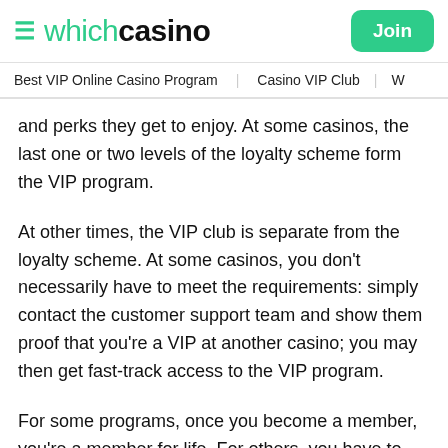≡ whichcasino  Join
Best VIP Online Casino Program   Casino VIP Club   W
and perks they get to enjoy. At some casinos, the last one or two levels of the loyalty scheme form the VIP program.
At other times, the VIP club is separate from the loyalty scheme. At some casinos, you don't necessarily have to meet the requirements: simply contact the customer support team and show them proof that you're a VIP at another casino; you may then get fast-track access to the VIP program.
For some programs, once you become a member, you're a member for life. For others, you have to keep